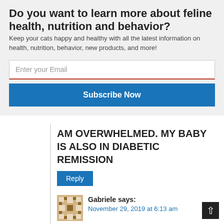Do you want to learn more about feline health, nutrition and behavior?
Keep your cats happy and healthy with all the latest information on health, nutrition, behavior, new products, and more!
Enter your Email
Subscribe Now
AM OVERWHELMED. MY BABY IS ALSO IN DIABETIC REMISSION
Reply
Gabriele says:
November 29, 2019 at 6:13 am
Does the commercially raw made food have bones in it? How do you feed it do you add binders or anything to counter the phosphorus. I have newly diagnosed oldest cat